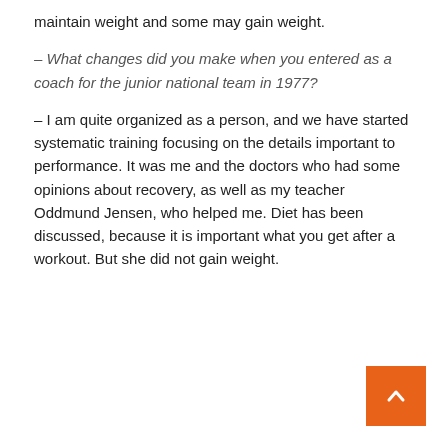maintain weight and some may gain weight.
– What changes did you make when you entered as a coach for the junior national team in 1977?
– I am quite organized as a person, and we have started systematic training focusing on the details important to performance. It was me and the doctors who had some opinions about recovery, as well as my teacher Oddmund Jensen, who helped me. Diet has been discussed, because it is important what you get after a workout. But she did not gain weight.